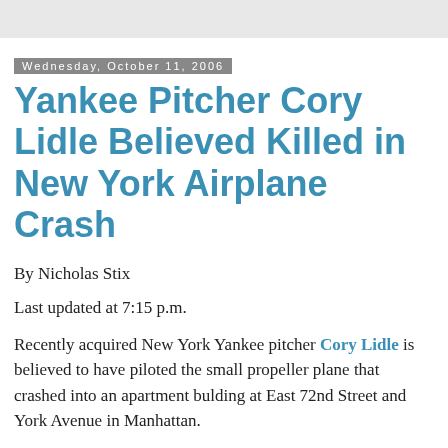Wednesday, October 11, 2006
Yankee Pitcher Cory Lidle Believed Killed in New York Airplane Crash
By Nicholas Stix
Last updated at 7:15 p.m.
Recently acquired New York Yankee pitcher Cory Lidle is believed to have piloted the small propeller plane that crashed into an apartment bulding at East 72nd Street and York Avenue in Manhattan.
Lidle's passport was found in the street below.